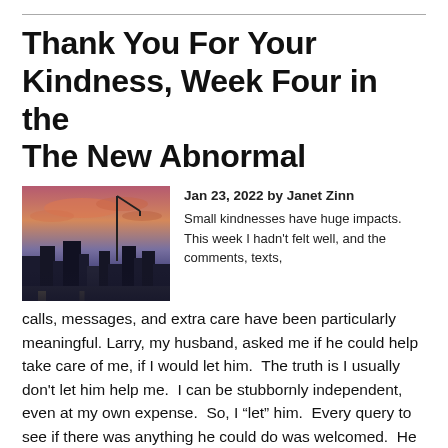Thank You For Your Kindness, Week Four in the The New Abnormal
[Figure (photo): Cityscape at sunset with pink and purple sky, street lamp visible, buildings silhouetted in foreground]
Jan 23, 2022 by Janet Zinn
Small kindnesses have huge impacts.  This week I hadn't felt well, and the comments, texts, calls, messages, and extra care have been particularly meaningful. Larry, my husband, asked me if he could help take care of me, if I would let him.  The truth is I usually don't let him help me.  I can be stubbornly independent, even at my own expense.  So, I “let” him.  Every query to see if there was anything he could do was welcomed.  He made trips to the pharmacy to find the right over-the-counter remedies.  He cooked or